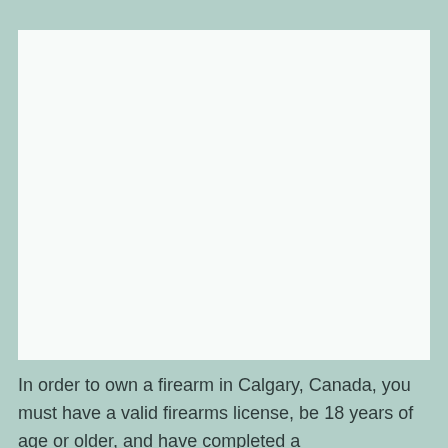[Figure (other): Large white/off-white blank rectangle serving as a placeholder image area on a teal/sage green background.]
In order to own a firearm in Calgary, Canada, you must have a valid firearms license, be 18 years of age or older, and have completed a